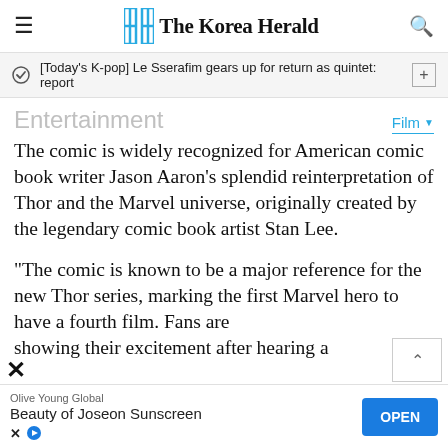The Korea Herald
[Today's K-pop] Le Sserafim gears up for return as quintet: report
Entertainment
The comic is widely recognized for American comic book writer Jason Aaron's splendid reinterpretation of Thor and the Marvel universe, originally created by the legendary comic book artist Stan Lee.
“The comic is known to be a major reference for the new Thor series, marking the first Marvel hero to have a fourth film. Fans are showing their excitement after hearing a
Olive Young Global
Beauty of Joseon Sunscreen
OPEN